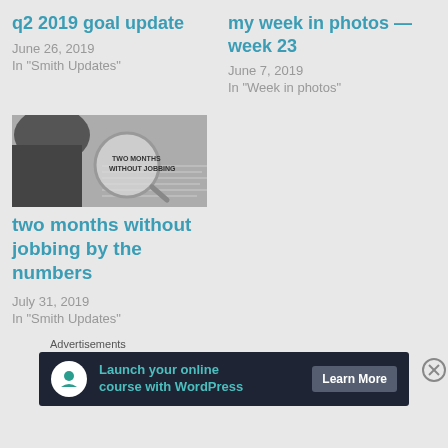q2 2019 goal update
June 26, 2019
In "Smith Updates"
my week in photos — week 23
June 7, 2019
In "Week in photos"
[Figure (photo): Black and white photo of person holding a magnifying glass with text 'TWO MONTHS WITHOUT JOBBING']
two months without jobbing by the numbers
July 31, 2019
In "Smith Updates"
Advertisements
[Figure (infographic): Advertisement banner: Launch your online course with WordPress, Learn More button]